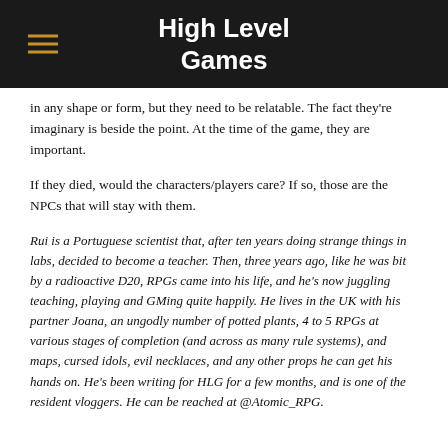High Level Games
in any shape or form, but they need to be relatable. The fact they're imaginary is beside the point. At the time of the game, they are important.
If they died, would the characters/players care? If so, those are the NPCs that will stay with them.
Rui is a Portuguese scientist that, after ten years doing strange things in labs, decided to become a teacher. Then, three years ago, like he was bit by a radioactive D20, RPGs came into his life, and he's now juggling teaching, playing and GMing quite happily. He lives in the UK with his partner Joana, an ungodly number of potted plants, 4 to 5 RPGs at various stages of completion (and across as many rule systems), and maps, cursed idols, evil necklaces, and any other props he can get his hands on. He's been writing for HLG for a few months, and is one of the resident vloggers. He can be reached at @Atomic_RPG.